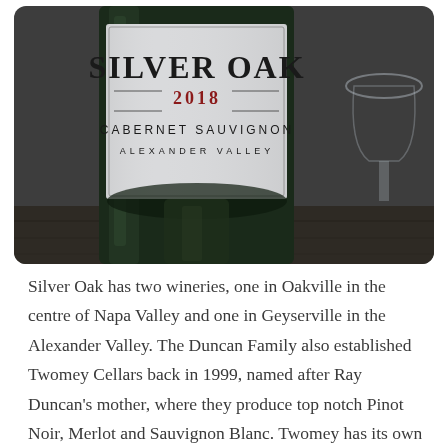[Figure (photo): Close-up photograph of a Silver Oak 2018 Cabernet Sauvignon Alexander Valley wine bottle label. The bottle is dark green glass, resting on a wooden surface. A wine glass is partially visible in the background.]
Silver Oak has two wineries, one in Oakville in the centre of Napa Valley and one in Geyserville in the Alexander Valley. The Duncan Family also established Twomey Cellars back in 1999, named after Ray Duncan's mother, where they produce top notch Pinot Noir, Merlot and Sauvignon Blanc. Twomey has its own wineries in Calistoga and